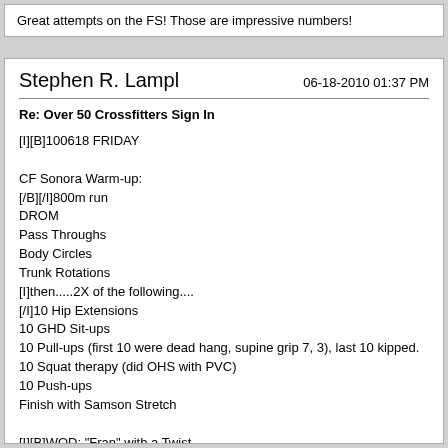Great attempts on the FS! Those are impressive numbers!
Stephen R. Lampl
06-18-2010 01:37 PM
Re: Over 50 Crossfitters Sign In
[I][B]100618 FRIDAY

CF Sonora Warm-up:
[/B][/I]800m run
DROM
Pass Throughs
Body Circles
Trunk Rotations
[I]then.....2X of the following....
[/I]10 Hip Extensions
10 GHD Sit-ups
10 Pull-ups (first 10 were dead hang, supine grip 7, 3), last 10 kipped.
10 Squat therapy (did OHS with PVC)
10 Push-ups
Finish with Samson Stretch

[I][B]WOD: "Fran" with a Twist
[/B][/I]12 X Thrusters 115#/75# [B]---> 115# [/B]got six broken reps and then couldn't even clean the bar properly from the deck, dropped to [B]95#[/B]
30 Sit-ups
21 Pull-ups [COLOR=Blue][B]20 unbroken pull-ups on the first round!